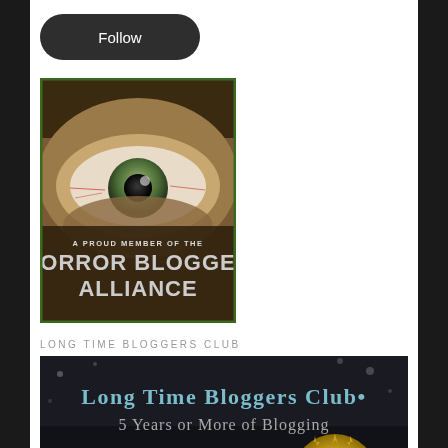[Figure (other): Dark rounded pill-shaped Follow button with white text on dark background]
[Figure (illustration): Horror Blogger Alliance badge: closeup of a bloodshot green eye with text 'A PROUD MEMBER OF THE HORROR BLOGGER ALLIANCE' on a dark horror-themed background]
LONG TIME BLOGGERS CLUB
[Figure (illustration): Long Time Bloggers Club banner: '5 YEARS OR MORE OF BLOGGING' text on dark background with a partial gold anniversary seal visible at bottom]